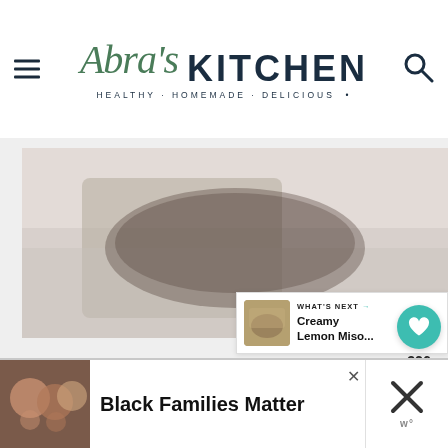Abra's Kitchen — HEALTHY · HOMEMADE · DELICIOUS
[Figure (other): Heart/like button showing 326 likes, and share button below it]
[Figure (other): What's Next callout: thumbnail image with label 'WHAT'S NEXT' and title 'Creamy Lemon Miso...']
[Figure (photo): Partial recipe food photo visible in the main content area]
[Figure (other): Advertisement banner: photo of smiling family with text 'Black Families Matter' and close/dismiss buttons]